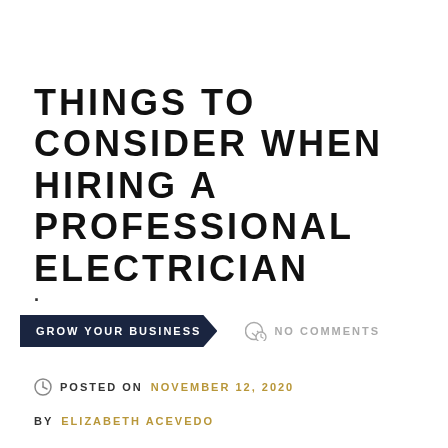THINGS TO CONSIDER WHEN HIRING A PROFESSIONAL ELECTRICIAN
.
GROW YOUR BUSINESS   NO COMMENTS
POSTED ON NOVEMBER 12, 2020
BY ELIZABETH ACEVEDO